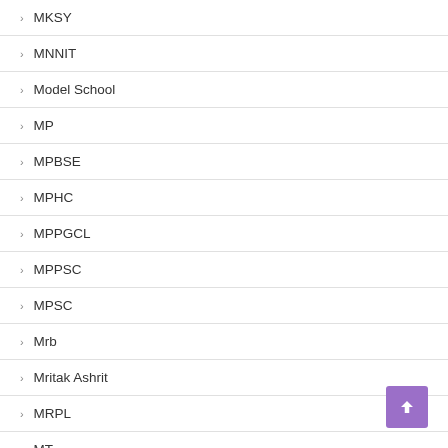MKSY
MNNIT
Model School
MP
MPBSE
MPHC
MPPGCL
MPPSC
MPSC
Mrb
Mritak Ashrit
MRPL
MT
MTNL
MTS